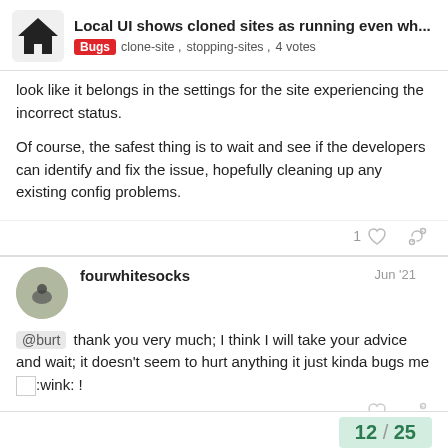Local UI shows cloned sites as running even wh... | Bugs clone-site, stopping-sites, 4 votes
look like it belongs in the settings for the site experiencing the incorrect status.
Of course, the safest thing is to wait and see if the developers can identify and fix the issue, hopefully cleaning up any existing config problems.
fourwhitesocks  Jun '21
@burt thank you very much; I think I will take your advice and wait; it doesn't seem to hurt anything it just kinda bugs me :wink: !
12 / 25